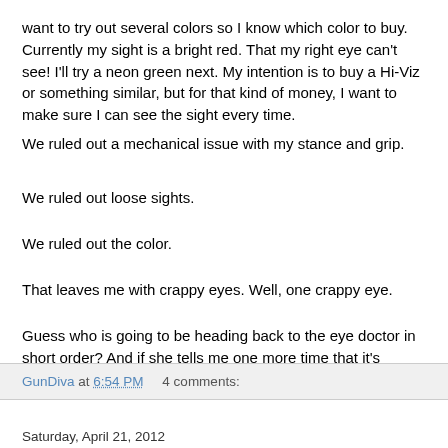want to try out several colors so I know which color to buy. Currently my sight is a bright red.  That my right eye can't see!  I'll try a neon green next.  My intention is to buy a Hi-Viz or something similar, but for that kind of money, I want to make sure I can see the sight every time.
We ruled out a mechanical issue with my stance and grip.
We ruled out loose sights.
We ruled out the color.
That leaves me with crappy eyes.  Well, one crappy eye.
Guess who is going to be heading back to the eye doctor in short order? And if she tells me one more time that it's because I'm "forty now", Ima punch her in the nose.
GunDiva at 6:54 PM    4 comments:
Saturday, April 21, 2012